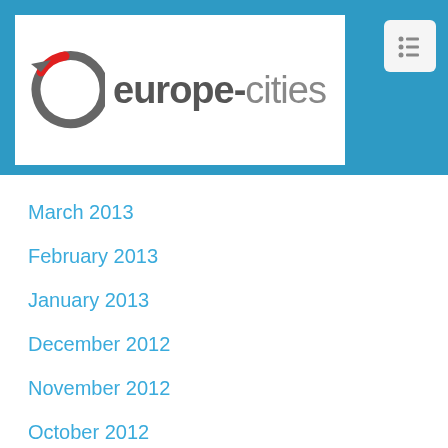[Figure (logo): europe-cities logo with circular arrow icon in grey and red, white background]
March 2013
February 2013
January 2013
December 2012
November 2012
October 2012
September 2012
August 2012
July 2012